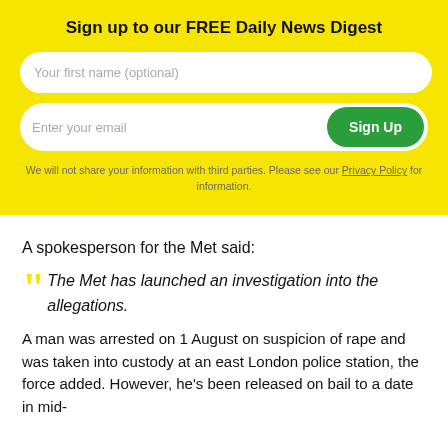Sign up to our FREE Daily News Digest
Your first name (optional)
Enter your email | Sign Up
We will not share your information with third parties. Please see our Privacy Policy for information.
A spokesperson for the Met said:
The Met has launched an investigation into the allegations.
A man was arrested on 1 August on suspicion of rape and was taken into custody at an east London police station, the force added. However, he's been released on bail to a date in mid-